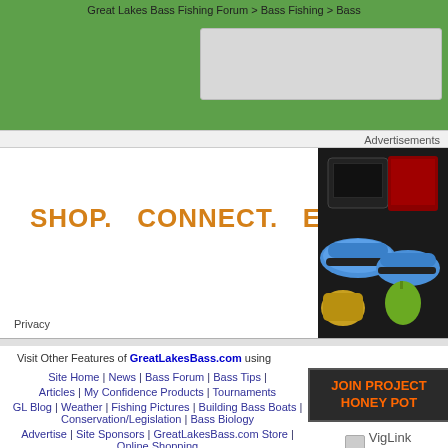Great Lakes Bass Fishing Forum > Bass Fishing > Bass
[Figure (screenshot): Search input box area on green background]
Advertisements
[Figure (illustration): Advertisement banner: SHOP. CONNECT. ENJOY. with product images on right (gaming console, shoes, accessories). Privacy link at bottom left.]
Visit Other Features of GreatLakesBass.com using
Site Home | News | Bass Forum | Bass Tips | Articles | My Confidence Products | Tournaments
GL Blog | Weather | Fishing Pictures | Building Bass Boats | Conservation/Legislation | Bass Biology
Advertise | Site Sponsors | GreatLakesBass.com Store | Online Shopping
Site Map | Contact Us | Search | About Us | Links | Link to Us | Resources | Privacy Policy | Disclosure Policy
[Figure (logo): JOIN PROJECT HONEY POT button - dark background with orange text]
[Figure (logo): VigLink badge - small icon with text 'VigLink badge']